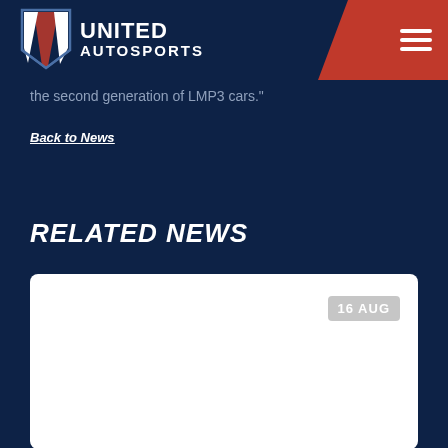United Autosports
the second generation of LMP3 cars."
Back to News
RELATED NEWS
[Figure (other): News card thumbnail with date badge showing 16 AUG]